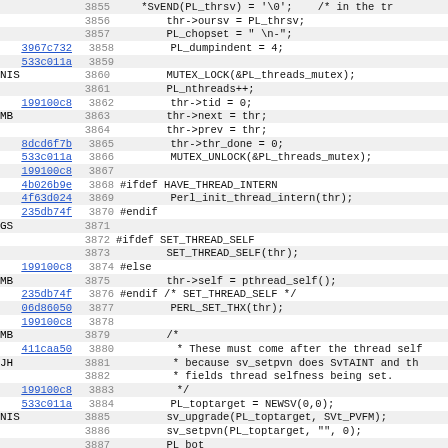[Figure (screenshot): Source code viewer showing C/Perl source lines 3855-3887 with annotation hashes and line numbers. Lines show thread initialization code including mutex locks, thread ID setup, and PL_ variable assignments.]